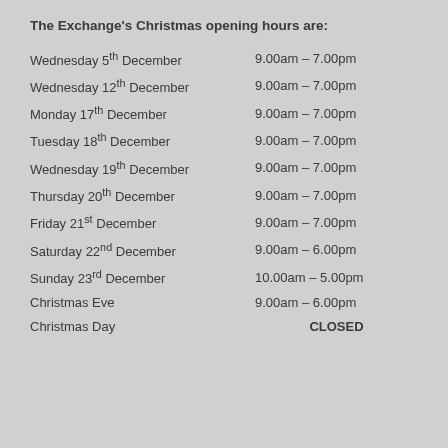The Exchange's Christmas opening hours are:
| Date | Hours |
| --- | --- |
| Wednesday 5th December | 9.00am – 7.00pm |
| Wednesday 12th December | 9.00am – 7.00pm |
| Monday 17th December | 9.00am – 7.00pm |
| Tuesday 18th December | 9.00am – 7.00pm |
| Wednesday 19th December | 9.00am – 7.00pm |
| Thursday 20th December | 9.00am – 7.00pm |
| Friday 21st December | 9.00am – 7.00pm |
| Saturday 22nd December | 9.00am – 6.00pm |
| Sunday 23rd December | 10.00am – 5.00pm |
| Christmas Eve | 9.00am – 6.00pm |
| Christmas Day | CLOSED |